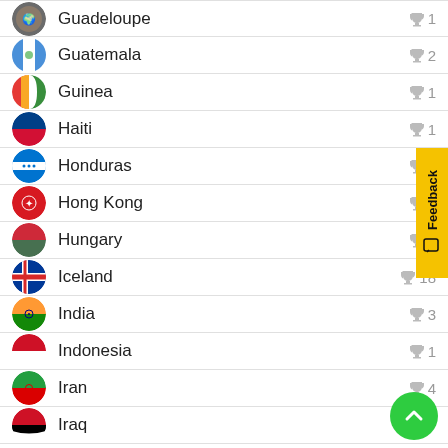Guadeloupe — trophy 1
Guatemala — trophy 2
Guinea — trophy 1
Haiti — trophy 1
Honduras — trophy 1
Hong Kong — trophy 3
Hungary — trophy 7
Iceland — trophy 18
India — trophy 3
Indonesia — trophy 1
Iran — trophy 4
Iraq — trophy (number cut off)
Israel — trophy 8